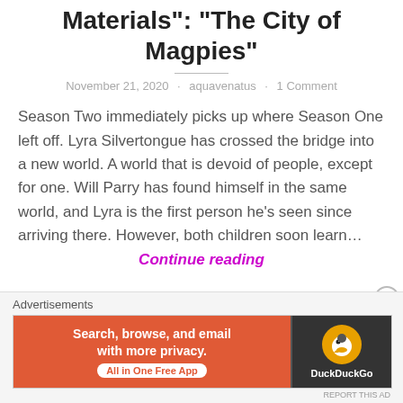Materials": "The City of Magpies"
November 21, 2020 · aquavenatus · 1 Comment
Season Two immediately picks up where Season One left off. Lyra Silvertongue has crossed the bridge into a new world. A world that is devoid of people, except for one. Will Parry has found himself in the same world, and Lyra is the first person he's seen since arriving there. However, both children soon learn…
Continue reading
Advertisements
[Figure (screenshot): DuckDuckGo advertisement banner: 'Search, browse, and email with more privacy. All in One Free App' with DuckDuckGo logo on dark background]